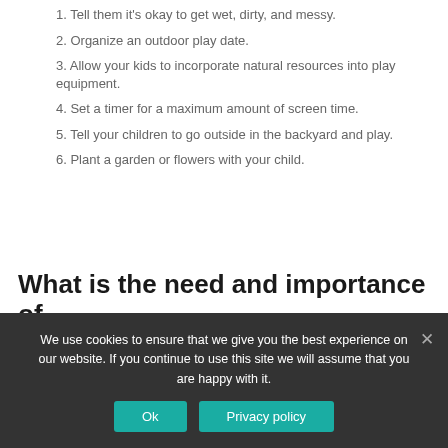1. Tell them it's okay to get wet, dirty, and messy.
2. Organize an outdoor play date.
3. Allow your kids to incorporate natural resources into play equipment.
4. Set a timer for a maximum amount of screen time.
5. Tell your children to go outside in the backyard and play.
6. Plant a garden or flowers with your child.
What is the need and importance of
We use cookies to ensure that we give you the best experience on our website. If you continue to use this site we will assume that you are happy with it.